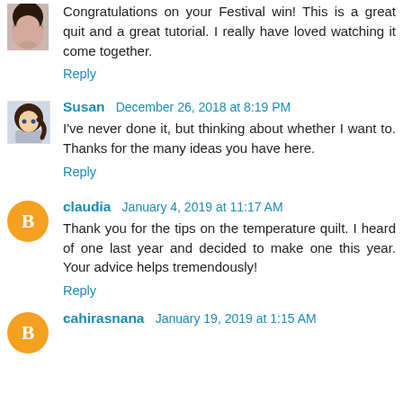[Figure (photo): Partial avatar image of a person at the top left, cropped]
Congratulations on your Festival win! This is a great quit and a great tutorial. I really have loved watching it come together.
Reply
Susan   December 26, 2018 at 8:19 PM
I've never done it, but thinking about whether I want to. Thanks for the many ideas you have here.
Reply
claudia   January 4, 2019 at 11:17 AM
Thank you for the tips on the temperature quilt. I heard of one last year and decided to make one this year. Your advice helps tremendously!
Reply
cahirasnana   January 19, 2019 at 1:15 AM